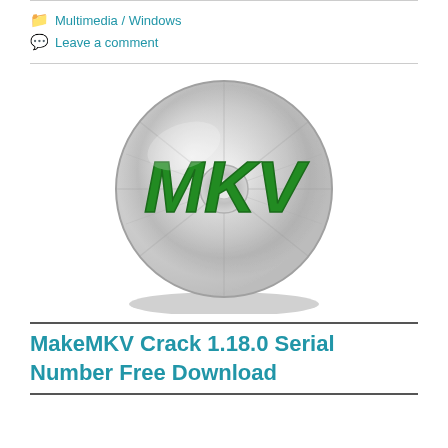Multimedia / Windows
Leave a comment
[Figure (logo): A shiny silver CD/DVD disc with the text 'MKV' written in large bold green italic letters on it]
MakeMKV Crack 1.18.0 Serial Number Free Download